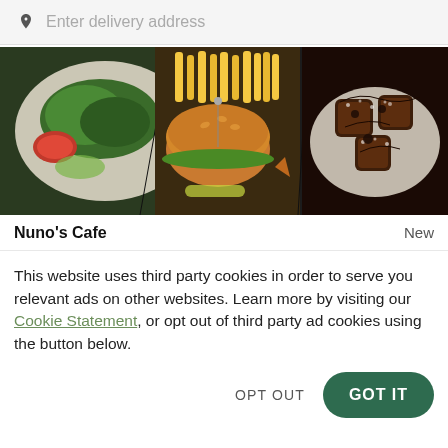Enter delivery address
[Figure (photo): Food photo showing three dishes from above: a salad with greens and tomato, a burger with fries and garnish, and chocolate dessert on a white plate with chocolate sauce drizzle.]
Nuno's Cafe   New
This website uses third party cookies in order to serve you relevant ads on other websites. Learn more by visiting our Cookie Statement, or opt out of third party ad cookies using the button below.
OPT OUT
GOT IT